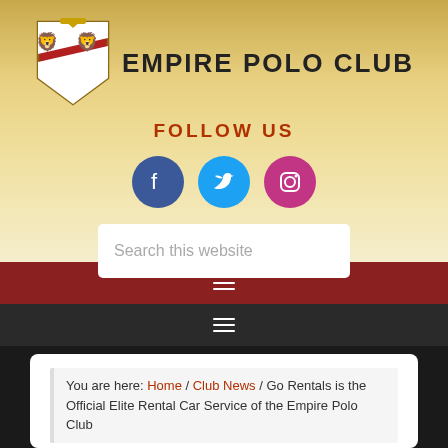[Figure (logo): Empire Polo Club heraldic crest logo with lions and shield, followed by text EMPIRE POLO CLUB]
FOLLOW US
[Figure (infographic): Three social media icon circles: Facebook (blue), Twitter (light blue), Instagram (pink/red)]
[Figure (screenshot): Search bar with placeholder text: Search this website]
[Figure (infographic): Red navigation bar with hamburger menu icon]
[Figure (infographic): Dark navigation bar with hamburger menu icon]
You are here: Home / Club News / Go Rentals is the Official Elite Rental Car Service of the Empire Polo Club